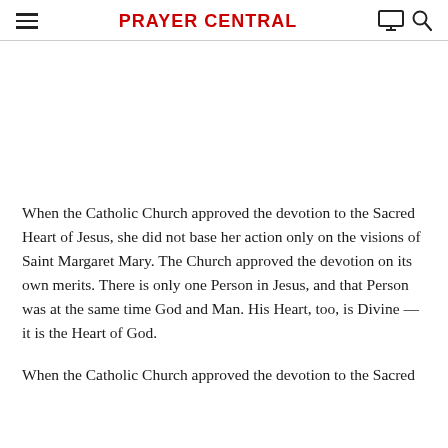PRAYER CENTRAL
When the Catholic Church approved the devotion to the Sacred Heart of Jesus, she did not base her action only on the visions of Saint Margaret Mary. The Church approved the devotion on its own merits. There is only one Person in Jesus, and that Person was at the same time God and Man. His Heart, too, is Divine — it is the Heart of God.
When the Catholic Church approved the devotion to the Sacred